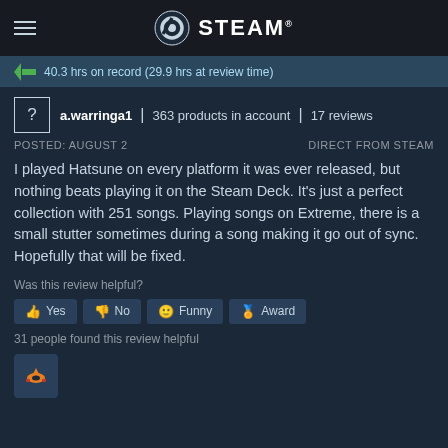STEAM
40.3 hrs on record (29.9 hrs at review time)
a.warringa1 | 363 products in account | 17 reviews
POSTED: AUGUST 2    DIRECT FROM STEAM
I played Hatsune on every platform it was ever released, but nothing beats playing it on the Steam Deck. It's just a perfect collection with 251 songs. Playing songs on Extreme, there is a small stutter sometimes during a song making it go out of sync. Hopefully that will be fixed.
Was this review helpful?
Yes   No   Funny   Award
31 people found this review helpful